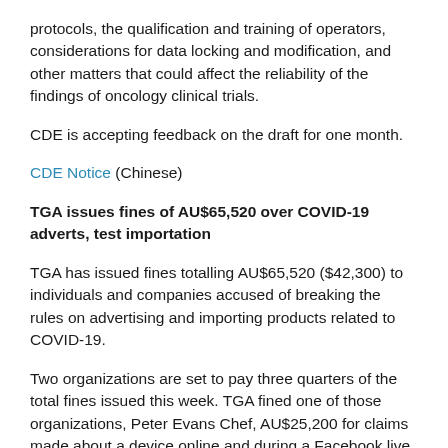protocols, the qualification and training of operators, considerations for data locking and modification, and other matters that could affect the reliability of the findings of oncology clinical trials.
CDE is accepting feedback on the draft for one month.
CDE Notice (Chinese)
TGA issues fines of AU$65,520 over COVID-19 adverts, test importation
TGA has issued fines totalling AU$65,520 ($42,300) to individuals and companies accused of breaking the rules on advertising and importing products related to COVID-19.
Two organizations are set to pay three quarters of the total fines issued this week. TGA fined one of those organizations, Peter Evans Chef, AU$25,200 for claims made about a device online and during a Facebook live stream. A company